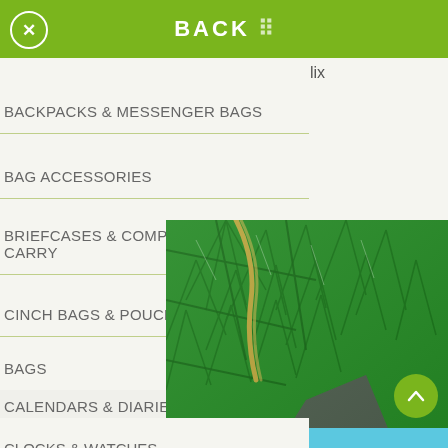BACK
BACKPACKS & MESSENGER BAGS
BAG ACCESSORIES
BRIEFCASES & COMPUTER CARRY
CINCH BAGS & POUCHES
BAGS
CALENDARS & DIARIES
CAPS & HATS
CLOCKS & WATCHES
[Figure (photo): Photo of pine tree branches with a decorative hanging ornament on a wooden background]